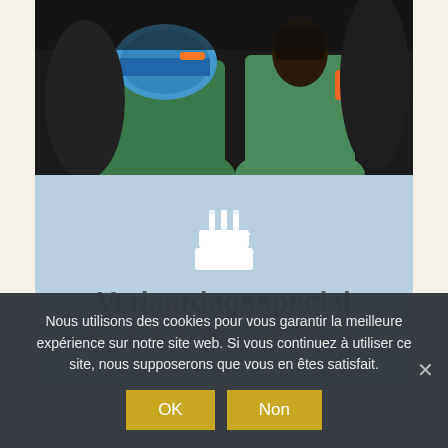[Figure (photo): Two people wearing green hooded sweatshirts and helmets, photographed from behind/side in a dark setting. One person appears to be holding something orange near their face.]
[Figure (illustration): White birthday cake icon with three candles and wavy frosting decoration on a light blue background]
Verjaardagsspecial
Organiseer een bijzondere verjaardag
Nous utilisons des cookies pour vous garantir la meilleure expérience sur notre site web. Si vous continuez à utiliser ce site, nous supposerons que vous en êtes satisfait.
OK
Non